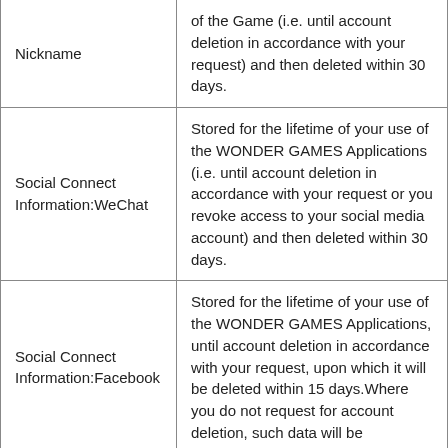| Data Type | Retention Period |
| --- | --- |
| Nickname | of the Game (i.e. until account deletion in accordance with your request) and then deleted within 30 days. |
| Social Connect Information:WeChat | Stored for the lifetime of your use of the WONDER GAMES Applications (i.e. until account deletion in accordance with your request or you revoke access to your social media account) and then deleted within 30 days. |
| Social Connect Information:Facebook | Stored for the lifetime of your use of the WONDER GAMES Applications, until account deletion in accordance with your request, upon which it will be deleted within 15 days.Where you do not request for account deletion, such data will be |